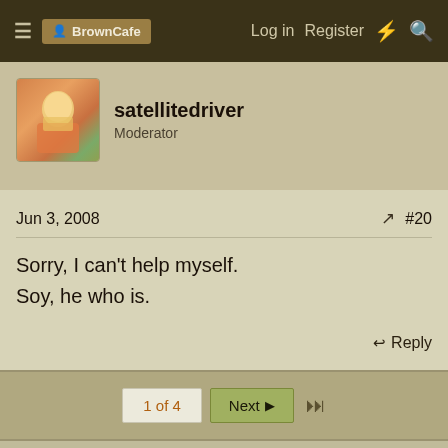BrownCafe  Log in  Register
satellitedriver
Moderator
Jun 3, 2008  #20
Sorry, I can't help myself.
Soy, he who is.
Reply
1 of 4  Next
Write your reply...